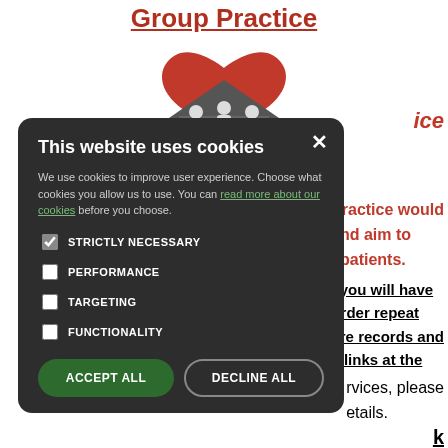Group Practice
[Figure (logo): Medical group practice logo with red heart and family/house silhouette icon]
ice
Practice would and aim to l patients.
, you will have order repeat are records and e links at the
rvices, please etails.
k
[Figure (screenshot): Cookie consent modal dialog with dark background. Title: 'This website uses cookies'. Body text about improving user experience with link 'read more about our cookies'. Checkboxes for STRICTLY NECESSARY (checked), PERFORMANCE, TARGETING, FUNCTIONALITY. Two buttons: ACCEPT ALL (green) and DECLINE ALL (outlined). Close X button top right.]